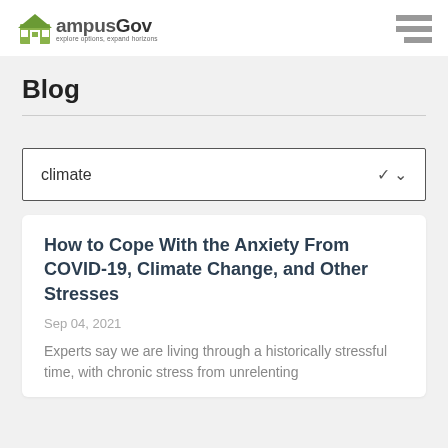CampusGov — explore options, expand horizons
Blog
climate
How to Cope With the Anxiety From COVID-19, Climate Change, and Other Stresses
Sep 04, 2021
Experts say we are living through a historically stressful time, with chronic stress from unrelenting